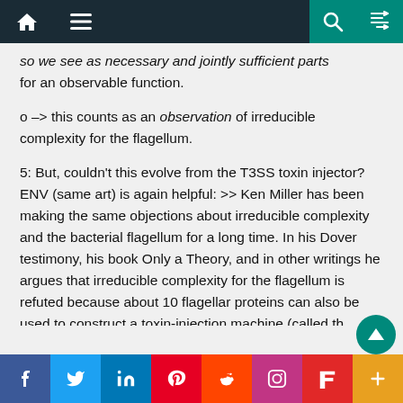Navigation bar with home, menu, search, and random icons
so we see as necessary and jointly sufficient parts for an observable function.
o -> this counts as an observation of irreducible complexity for the flagellum.
5: But, couldn't this evolve from the T3SS toxin injector? ENV (same art) is again helpful: >> Ken Miller has been making the same objections about irreducible complexity and the bacterial flagellum for a long time. In his Dover testimony, his book Only a Theory, and in other writings he argues that irreducible complexity for the flagellum is refuted because about 10 flagellar proteins can also be used to construct a toxin-injection machine (called th
f  t  in  P  S  (instagram)  (flipboard)  +